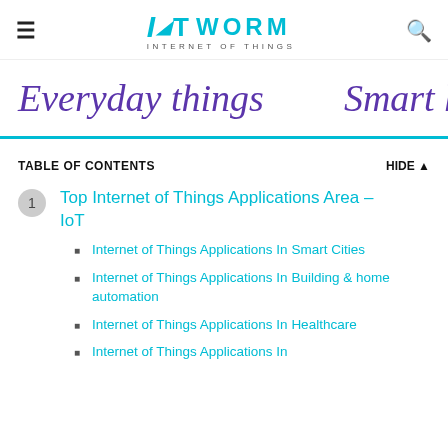IoT Worm – Internet of Things
[Figure (screenshot): Banner showing 'Everyday things' and 'Smart homes & ci...' in purple cursive text with a teal underline]
TABLE OF CONTENTS
1 Top Internet of Things Applications Area – IoT
Internet of Things Applications In Smart Cities
Internet of Things Applications In Building & home automation
Internet of Things Applications In Healthcare
Internet of Things Applications In...